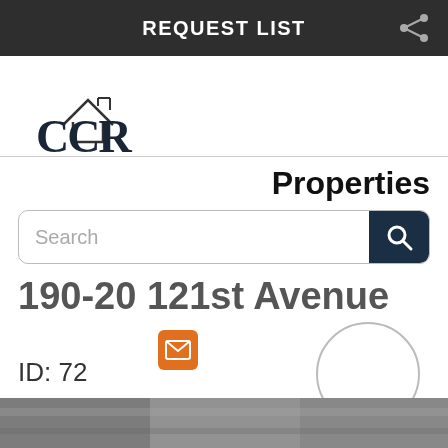REQUEST LIST
[Figure (logo): Cross Country Realty logo with house outline and CCR letters]
Properties
Search
190-20 121st Avenue
[Figure (illustration): Orange email/envelope icon button]
ID: 72
[Figure (photo): Partial property photo at bottom of screen]